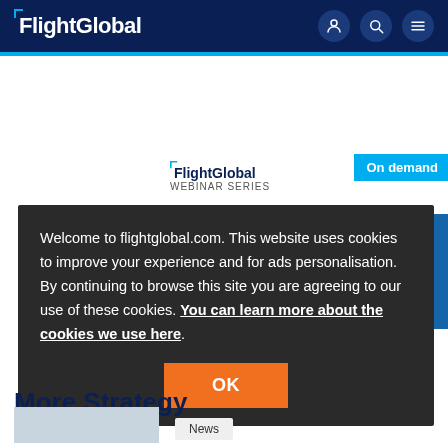FlightGlobal
[Figure (screenshot): FlightGlobal Webinar Series On Demand banner with text 'Did you miss any of']
Welcome to flightglobal.com. This website uses cookies to improve your experience and for ads personalisation. By continuing to browse this site you are agreeing to our use of these cookies. You can learn more about the cookies we use here.
OK
More Strategy
News